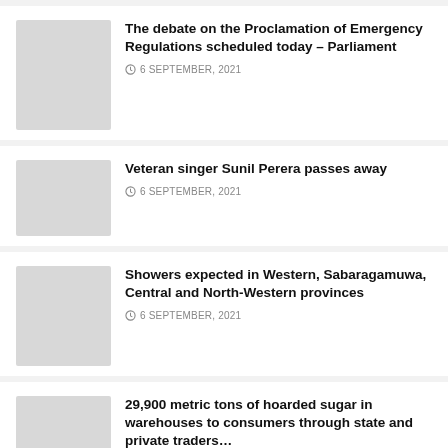The debate on the Proclamation of Emergency Regulations scheduled today – Parliament
6 SEPTEMBER, 2021
Veteran singer Sunil Perera passes away
6 SEPTEMBER, 2021
Showers expected in Western, Sabaragamuwa, Central and North-Western provinces
6 SEPTEMBER, 2021
29,900 metric tons of hoarded sugar in warehouses to consumers through state and private traders…
4 SEPTEMBER, 2021
Mechanism devised to provide organic fertilizer required for Maha Season without…